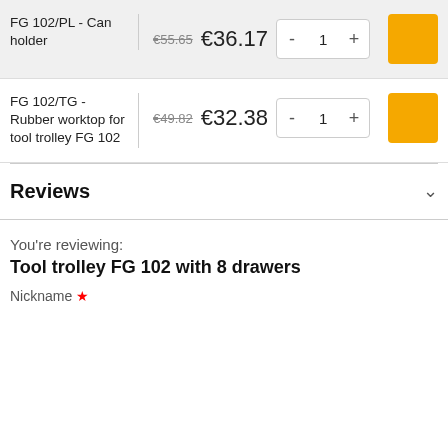| Product | Price | Quantity | Action |
| --- | --- | --- | --- |
| FG 102/PL - Can holder | €55.65 €36.17 | 1 | Add |
| FG 102/TG - Rubber worktop for tool trolley FG 102 | €49.82 €32.38 | 1 | Add |
Reviews
You're reviewing:
Tool trolley FG 102 with 8 drawers
Nickname ★